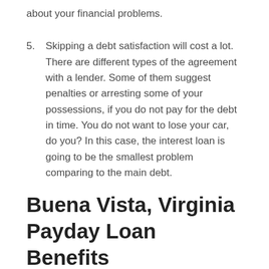about your financial problems.
5.    Skipping a debt satisfaction will cost a lot. There are different types of the agreement with a lender. Some of them suggest penalties or arresting some of your possessions, if you do not pay for the debt in time. You do not want to lose your car, do you? In this case, the interest loan is going to be the smallest problem comparing to the main debt.
Buena Vista, Virginia Payday Loan Benefits
Using EasyLoansUSA offers you many advantages.
Fast approval. Using our service gives you a guarantee to deposit your money to bank account